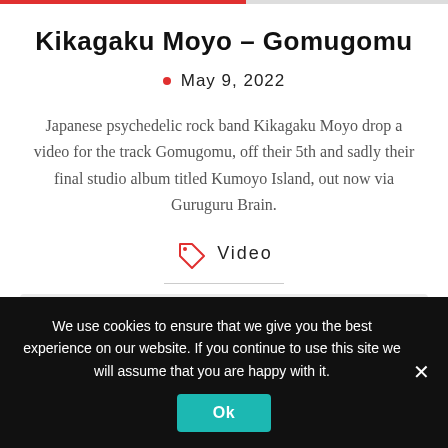Kikagaku Moyo – Gomugomu
May 9, 2022
Japanese psychedelic rock band Kikagaku Moyo drop a video for the track Gomugomu, off their 5th and sadly their final studio album titled Kumoyo Island, out now via Guruguru Brain.
Video
[Figure (other): Embedded video player placeholder (light gray rectangle)]
We use cookies to ensure that we give you the best experience on our website. If you continue to use this site we will assume that you are happy with it.